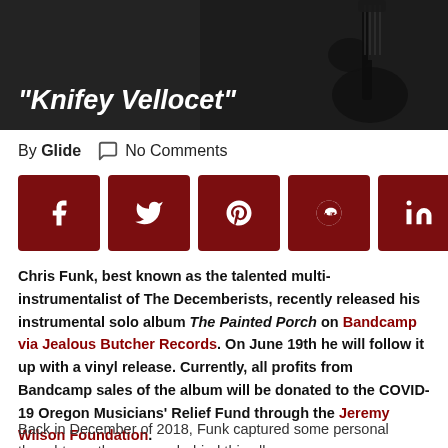[Figure (photo): Dark background hero image with a person holding a guitar, with italic white bold title text 'Knifey Vellocet' overlaid at bottom left]
By Glide   No Comments
[Figure (infographic): Row of 9 dark red social share buttons: Facebook, Twitter, Pinterest, Reddit, LinkedIn, Tumblr, Mix, Email, WhatsApp]
Chris Funk, best known as the talented multi-instrumentalist of The Decemberists, recently released his instrumental solo album The Painted Porch on Bandcamp via Jealous Butcher Records. On June 19th he will follow it up with a vinyl release. Currently, all profits from Bandcamp sales of the album will be donated to the COVID-19 Oregon Musicians' Relief Fund through the Jeremy Wilson Foundation.
Back in December of 2018, Funk captured some personal thoughts on the process behind this album: